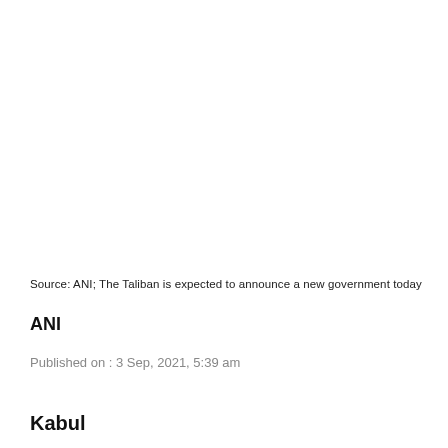Source: ANI; The Taliban is expected to announce a new government today
ANI
Published on : 3 Sep, 2021, 5:39 am
Kabul